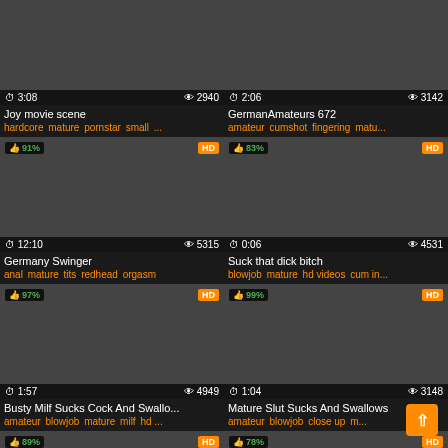[Figure (screenshot): Video thumbnail grid showing adult video website with 8 video cards in 2-column layout. Each card shows a thumbnail image, duration, view count, HD badge, like percentage, title, and tags.]
Joy movie scene | hardcore mature pornstar small ...
GermanAmateurs 672 | amateur cumshot fingering matu...
Germany Swinger | anal mature tits redhead orgasm
Suck that dick bitch | blowjob mature hd videos cum in...
Busty Milf Sucks Cock And Swallo... | amateur blowjob mature milf hd ...
Mature Slut Sucks And Swallows | amateur blowjob close up m...